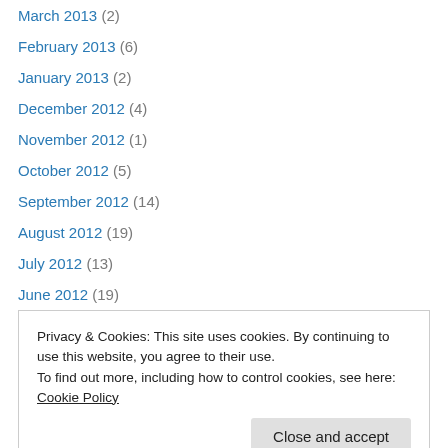March 2013 (2)
February 2013 (6)
January 2013 (2)
December 2012 (4)
November 2012 (1)
October 2012 (5)
September 2012 (14)
August 2012 (19)
July 2012 (13)
June 2012 (19)
May 2012 (5)
April 2012 (1)
March 2012 (5)
Privacy & Cookies: This site uses cookies. By continuing to use this website, you agree to their use. To find out more, including how to control cookies, see here: Cookie Policy
August 2011 (1)